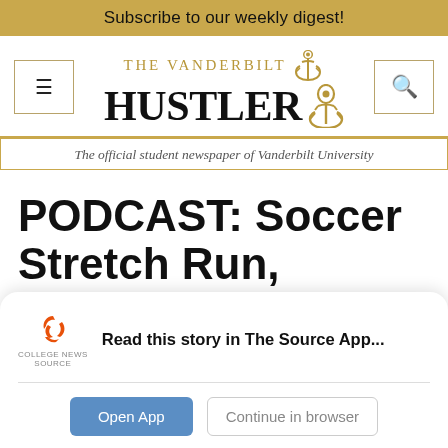Subscribe to our weekly digest!
[Figure (logo): The Vanderbilt Hustler newspaper logo with anchor icon, tagline: The official student newspaper of Vanderbilt University]
PODCAST: Soccer Stretch Run, Previewing Missouri
Read this story in The Source App...
Open App | Continue in browser